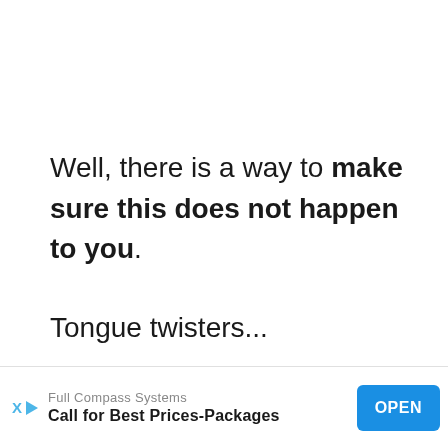Well, there is a way to make sure this does not happen to you. Tongue twisters...
You know, those sayings that school-children love to drone on wi...
[Figure (other): Advertisement banner: Full Compass Systems — Call for Best Prices-Packages, with OPEN button and X/play badge]